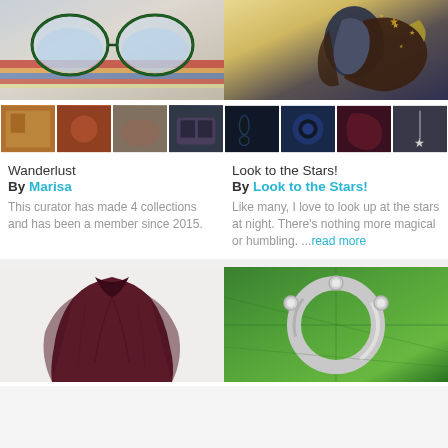[Figure (photo): Wanderlust collection card with glasses photo and 4 thumbnails below]
Wanderlust
By Marisa
This curator has made 4 collections and has been a member since 2015.
[Figure (photo): Look to the Stars collection card with celestial face artwork and 4 thumbnails below]
Look to the Stars!
By Look to the Stars!
Like many, I love to look up at the stars at night. There's nothing more magical or humbling. ...read more
[Figure (photo): Dark red/maroon cape or poncho garment on white background]
[Figure (photo): Silver bracelet/bangle on green leaf background]